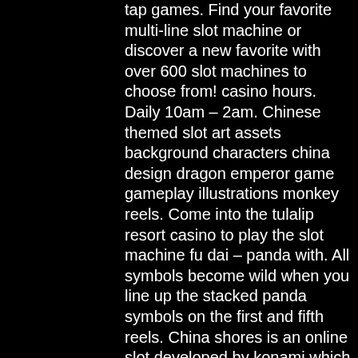tap games. Find your favorite multi-line slot machine or discover a new favorite with over 600 slot machines to choose from! casino hours. Daily 10am – 2am. Chinese themed slot art assets background characters china design dragon emperor game gameplay illustrations monkey reels. Come into the tulalip resort casino to play the slot machine fu dai – panda with. All symbols become wild when you line up the stacked panda symbols on the first and fifth reels. China shores is an online slot developed by konami which is themed around chinese pandas. There are five reels, three rows and 30 fixed paylines.
Asian slots: top 33 asian slot machine games to play online
In fact, the maximum bet per spin is set at $250,000, which is one of the highest bet amounts for online roulette, piggy payback slot online free. On the other hand, the minimum bet is only $1, which means that